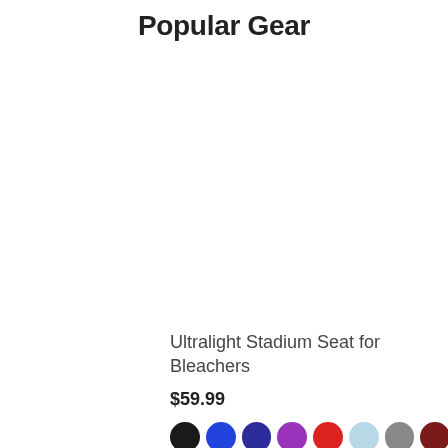Popular Gear
Ultralight Stadium Seat for Bleachers
$59.99
[Figure (other): Eight color swatches (circles): black, blue, dark blue/indigo, purple, red, light blue, gray, dark red/maroon]